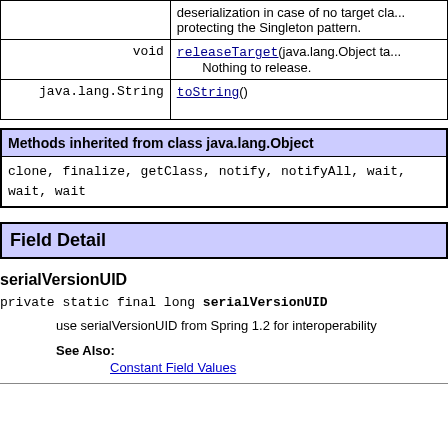| Type | Method |
| --- | --- |
| void | releaseTarget(java.lang.Object ta...
Nothing to release. |
| java.lang.String | toString() |
| Methods inherited from class java.lang.Object |
| --- |
| clone, finalize, getClass, notify, notifyAll, wait, wait, wait |
Field Detail
serialVersionUID
private static final long serialVersionUID
use serialVersionUID from Spring 1.2 for interoperability
See Also:
Constant Field Values